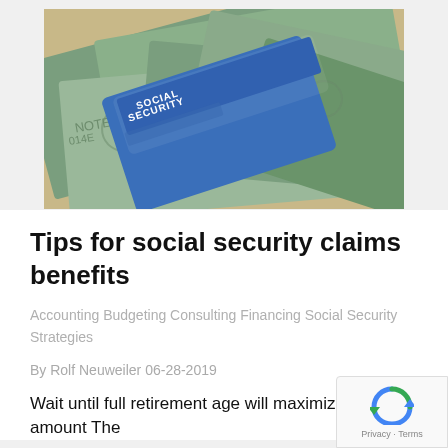[Figure (photo): Photo of a Social Security card fanned out over US dollar bills, showing the blue Social Security card prominently on top with text 'SOCIAL SECURITY' visible]
Tips for social security claims benefits
Accounting Budgeting Consulting Financing Social Security Strategies
By Rolf Neuweiler 06-28-2019
Wait until full retirement age will maximize benefits amount The